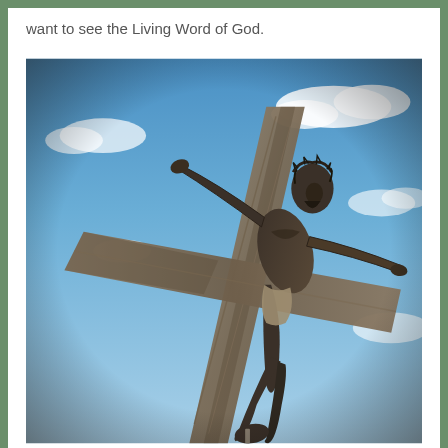want to see the Living Word of God.
[Figure (photo): A wooden crucifix sculpture photographed from below against a blue sky with white clouds. The figure of Christ is carved in dark wood, arms outstretched on rough-hewn log beams, with the body twisted and head tilted, wearing a crown of thorns, feet nailed to the base of the cross.]